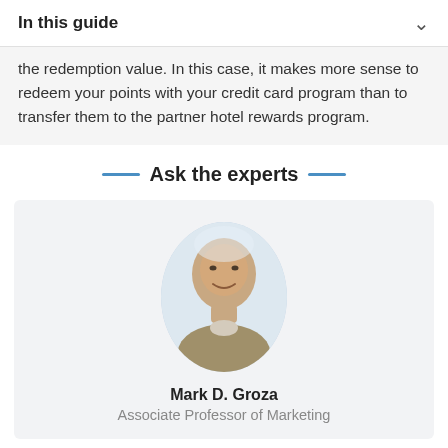In this guide
the redemption value. In this case, it makes more sense to redeem your points with your credit card program than to transfer them to the partner hotel rewards program.
Ask the experts
[Figure (photo): Headshot photo of Mark D. Groza, shown in an oval/portrait crop, bald man smiling in professional attire]
Mark D. Groza
Associate Professor of Marketing